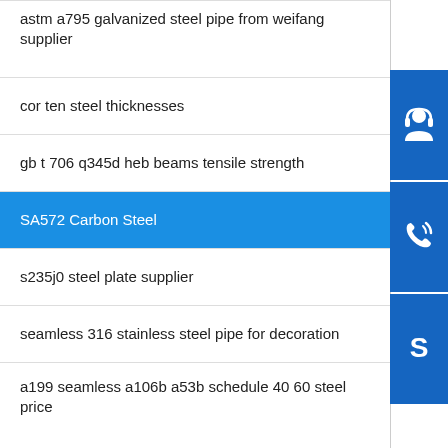astm a795 galvanized steel pipe from weifang supplier
cor ten steel thicknesses
gb t 706 q345d heb beams tensile strength
SA572 Carbon Steel
s235j0 steel plate supplier
seamless 316 stainless steel pipe for decoration
a199 seamless a106b a53b schedule 40 60 steel price
upn steel shapes